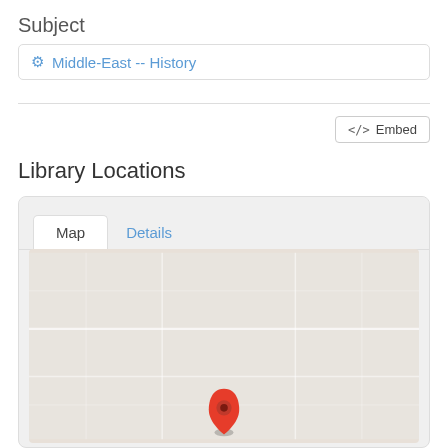Subject
⚙ Middle-East -- History
</> Embed
Library Locations
[Figure (map): A map interface with tabs 'Map' and 'Details'. Shows a grey Google Maps-style map with a red location pin marker in the lower center area.]